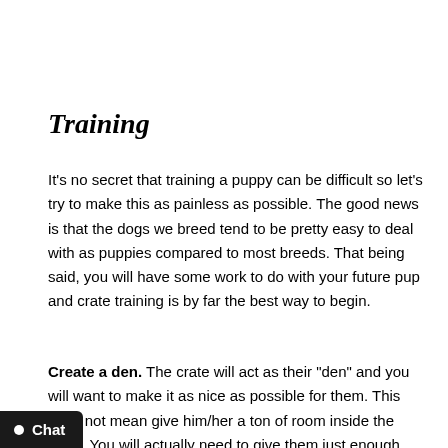Training
It's no secret that training a puppy can be difficult so let's try to make this as painless as possible. The good news is that the dogs we breed tend to be pretty easy to deal with as puppies compared to most breeds. That being said, you will have some work to do with your future pup and crate training is by far the best way to begin.
Create a den. The crate will act as their "den" and you will want to make it as nice as possible for them. This does not mean give him/her a ton of room inside the crate. You will actually need to give them just enough space to lay down comfortably. So when deciding on which crate to buy keep